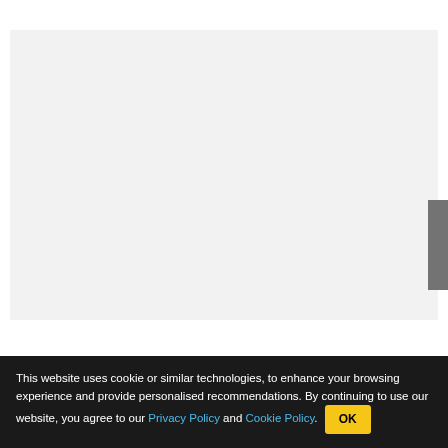[Figure (screenshot): Large light gray rectangular area representing a website content area or loading placeholder, with a dark gray scrollbar element visible on the right side.]
This website uses cookie or similar technologies, to enhance your browsing experience and provide personalised recommendations. By continuing to use our website, you agree to our Privacy Policy and Cookie Policy.  OK